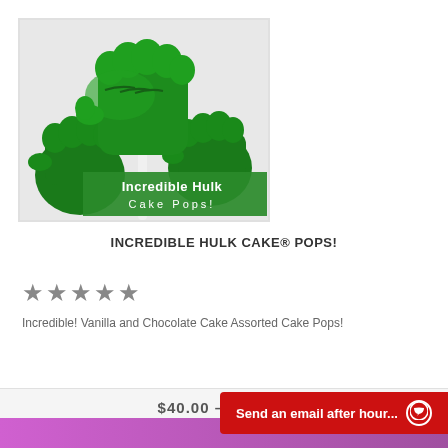[Figure (photo): Green Hulk fist-shaped cake pops on sticks. Multiple green fist shapes in background. Green banner overlay text reads 'Incredible Hulk Cake Pops!']
INCREDIBLE HULK CAKE® POPS!
[Figure (other): Five gray star rating icons]
Incredible! Vanilla and Chocolate Cake Assorted Cake Pops!
$40.00 - $300.00
Send an email after hour...